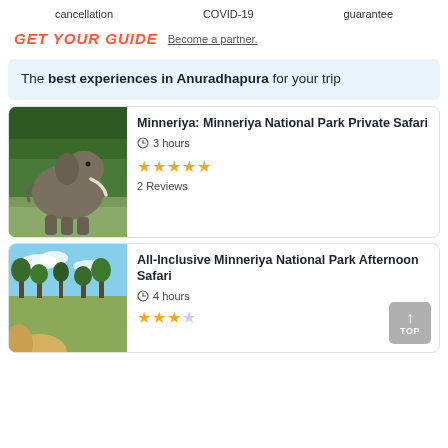cancellation   COVID-19   guarantee
[Figure (logo): GET YOUR GUIDE logo in red italic bold text, followed by 'Become a partner.' link]
The best experiences in Anuradhapura for your trip
[Figure (photo): Elephant standing in green vegetation — Minneriya National Park]
Minneriya: Minneriya National Park Private Safari
3 hours
★★★★★ 2 Reviews
[Figure (photo): Savannah landscape with trees and blue sky — All-Inclusive Minneriya safari]
All-Inclusive Minneriya National Park Afternoon Safari
4 hours
★★★★☆